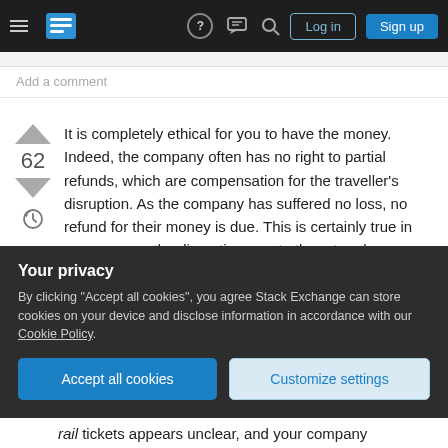Stack Exchange navigation bar with hamburger menu, logo, help, chat, search icons, Log in and Sign up buttons
Add a comment
It is completely ethical for you to have the money. Indeed, the company often has no right to partial refunds, which are compensation for the traveller's disruption. As the company has suffered no loss, no refund for their money is due. This is certainly true in your case as the disruption was to the return leg.
This is backed up with legal texts, albeit for flights,
Your privacy
By clicking "Accept all cookies", you agree Stack Exchange can store cookies on your device and disclose information in accordance with our Cookie Policy.
Accept all cookies   Customize settings
rail tickets appears unclear, and your company